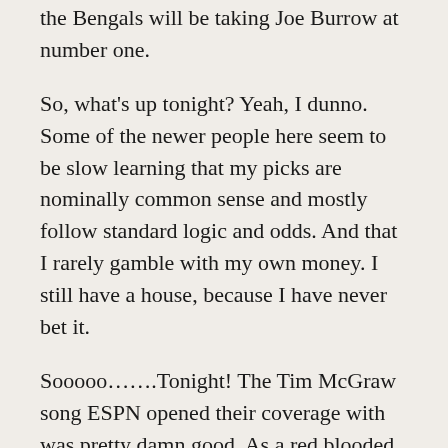the Bengals will be taking Joe Burrow at number one.
So, what's up tonight? Yeah, I dunno. Some of the newer people here seem to be slow learning that my picks are nominally common sense and mostly follow standard logic and odds. And that I rarely gamble with my own money. I still have a house, because I have never bet it.
Sooooo…….Tonight! The Tim McGraw song ESPN opened their coverage with was pretty damn good. As a red blooded gut, nowhere near his wife, Faith Hill's, SNF opener. Sorry folks, that one from nearly ten years ago seriously rocked.
As to the game. The right two teams are clearly playing. LSU seems, qualitatively, the much better